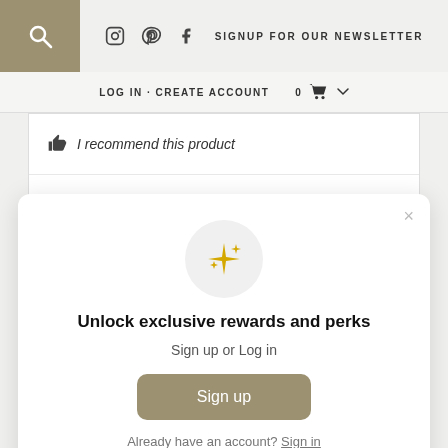SIGNUP FOR OUR NEWSLETTER
LOG IN · CREATE ACCOUNT   0 🛒
👍 I recommend this product
[Figure (screenshot): Modal dialog with sparkle emoji icon, title 'Unlock exclusive rewards and perks', subtitle 'Sign up or Log in', a Sign up button, and 'Already have an account? Sign in' link. Close X button top right.]
Unlock exclusive rewards and perks
Sign up or Log in
Sign up
Already have an account? Sign in